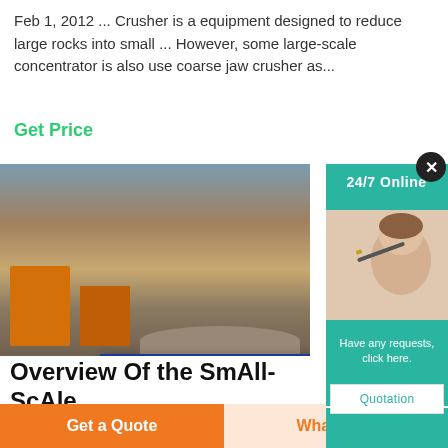Feb 1, 2012 ... Crusher is a equipment designed to reduce large rocks into small ... However, some large-scale concentrator is also use coarse jaw crusher as...
Get Price
[Figure (photo): Photo of a quarry/mining site with orange machinery and crushed rock piles, overlaid with a live chat popup showing a customer service representative with headset and a 'CHAT NOW' button]
24/7 Online
Have any requests, click here.
Quotation
Overview Of the SmAll-ScAle...
Get a Quote
WhatsApp